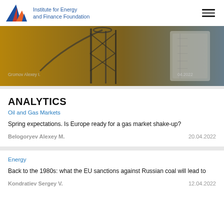Institute for Energy and Finance Foundation
[Figure (photo): Industrial photo of an oil/gas facility with scaffolding and storage tanks, orange-tinted]
ANALYTICS
Oil and Gas Markets
Spring expectations. Is Europe ready for a gas market shake-up?
Belogoryev Alexey M.    20.04.2022
Energy
Back to the 1980s: what the EU sanctions against Russian coal will lead to
Kondratiev Sergey V.    12.04.2022